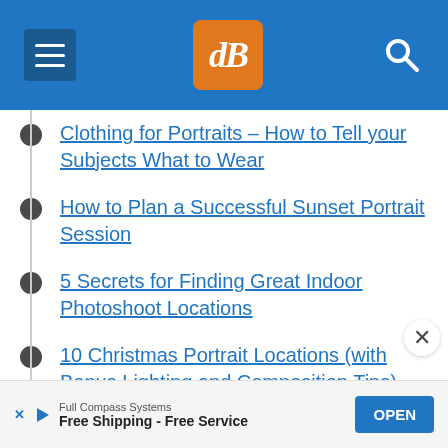dPS navigation header
Clothing for Portraits – How to Tell your Subjects What to Wear
How to Plan a Successful Sunset Portrait Session
5 Secrets for Finding Great Indoor Photoshoot Locations
10 Christmas Portrait Locations (with Bonus Lighting and Composition Tips)
How to Build a Bench Prop for Great Portrait Photos
A Beginners Guide to Taking Portraits of
Full Compass Systems — Free Shipping - Free Service — OPEN